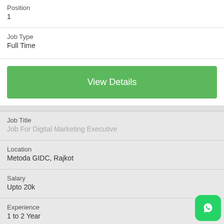Position
1
Job Type
Full Time
View Details
Job Title
Job For Digital Marketing Executive
Location
Metoda GIDC, Rajkot
Salary
Upto 20k
Experience
1 to 2 Year
Position
1